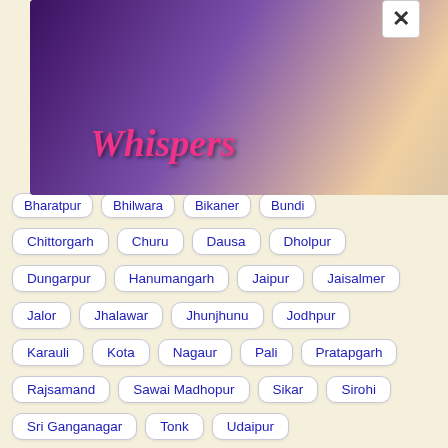[Figure (screenshot): Advertisement banner for 'Whispers' app/game showing romantic scenes with couples, pink stylized logo text 'Whispers' on dark gradient background]
Bharatpur
Bhilwara
Bikaner
Bundi
Chittorgarh
Churu
Dausa
Dholpur
Dungarpur
Hanumangarh
Jaipur
Jaisalmer
Jalor
Jhalawar
Jhunjhunu
Jodhpur
Karauli
Kota
Nagaur
Pali
Pratapgarh
Rajsamand
Sawai Madhopur
Sikar
Sirohi
Sri Ganganagar
Tonk
Udaipur